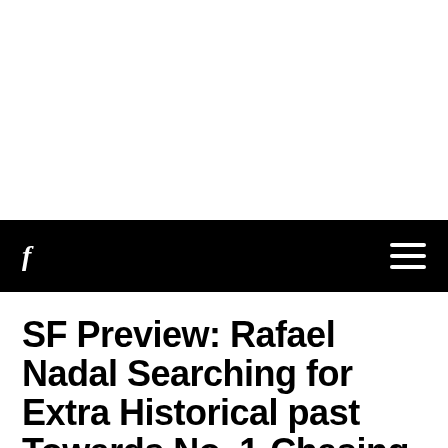[Figure (photo): White blank area at top of page, likely an image placeholder or cropped image region]
f  ≡
SF Preview: Rafael Nadal Searching for Extra Historical past Towards No. 1-Chasing Alexander Zverev!